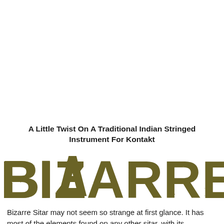A Little Twist On A Traditional Indian Stringed Instrument For Kontakt
[Figure (logo): Large distressed bold text logo reading 'BIZARRE SITAR' in olive/dark gold color with a triangular design replacing the letter A in BIZARRE]
Bizarre Sitar may not seem so strange at first glance. It has most of the elements found on any other sitar, with its traditional gourd body, both main playable strings and sympathetic resonating